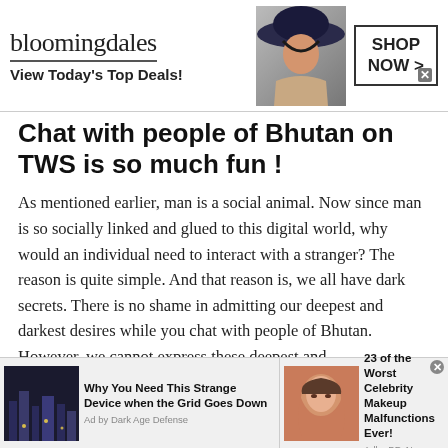[Figure (screenshot): Bloomingdale's advertisement banner: logo text 'bloomingdales', tagline 'View Today's Top Deals!', fashion model with wide-brim hat, 'SHOP NOW >' button]
Chat with people of Bhutan on TWS is so much fun !
As mentioned earlier, man is a social animal. Now since man is so socially linked and glued to this digital world, why would an individual need to interact with a stranger? The reason is quite simple. And that reason is, we all have dark secrets. There is no shame in admitting our deepest and darkest desires while you chat with people of Bhutan. However, we cannot express these deepest and
[Figure (screenshot): Bottom advertisement bar with two ads: 'Why You Need This Strange Device when the Grid Goes Down' (Ad by Dark Age Defense) with city night image, and '23 of the Worst Celebrity Makeup Malfunctions Ever!' (Adby BPyNews) with celebrity photo]